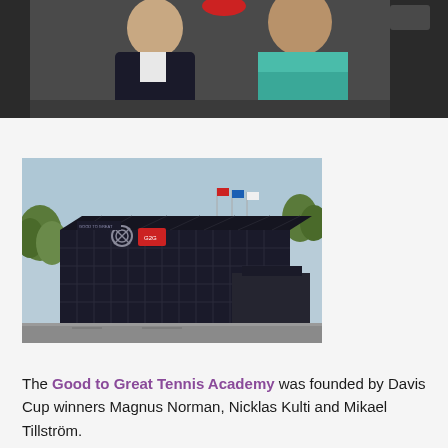[Figure (photo): Two men posing together for a photo. One wearing a dark suit, the other wearing a teal/green polo shirt. Dark background.]
[Figure (photo): Exterior view of a large modern dark-colored building with glass facade, signage including a red logo. Flags visible, trees in background. Wide driveway in front.]
The Good to Great Tennis Academy was founded by Davis Cup winners Magnus Norman, Nicklas Kulti and Mikael Tillström.